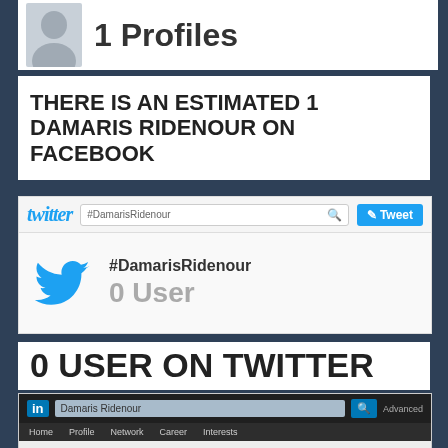[Figure (screenshot): Partial Facebook profile card showing silhouette avatar and '1 Profiles' text]
THERE IS AN ESTIMATED 1 DAMARIS RIDENOUR ON FACEBOOK
[Figure (screenshot): Twitter UI card showing twitter logo bar with #DamarisRidenour search, tweet button, and result: #DamarisRidenour 0 User]
0 USER ON TWITTER
[Figure (screenshot): LinkedIn UI card showing LinkedIn header bar, nav bar with Home, Profile, Network, Career, Interests, and result: Damaris Ridenour 0 Member with Close X button]
0 DAMARIS RIDENOUR ON LINKEDIN